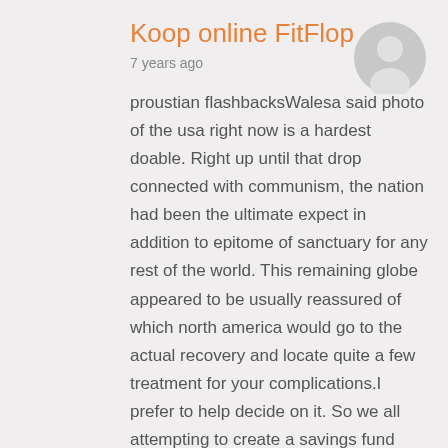Koop online FitFlop
7 years ago
[Figure (illustration): Gray circular avatar placeholder with silhouette of a person]
proustian flashbacksWalesa said photo of the usa right now is a hardest doable. Right up until that drop connected with communism, the nation had been the ultimate expect in addition to epitome of sanctuary for any rest of the world. This remaining globe appeared to be usually reassured of which north america would go to the actual recovery and locate quite a few treatment for your complications.I prefer to help decide on it. So we all attempting to create a savings fund fabric with the existenc
Reply